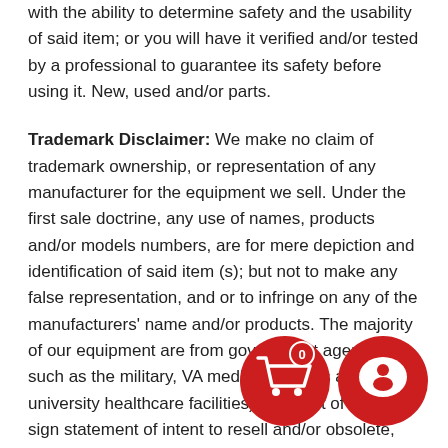with the ability to determine safety and the usability of said item; or you will have it verified and/or tested by a professional to guarantee its safety before using it. New, used and/or parts.
Trademark Disclaimer: We make no claim of trademark ownership, or representation of any manufacturer for the equipment we sell. Under the first sale doctrine, any use of names, products and/or models numbers, are for mere depiction and identification of said item (s); but not to make any false representation, and or to infringe on any of the manufacturers' name and/or products. The majority of our equipment are from government agencies such as the military, VA medical facilities and public university healthcare facilities), for most of which we sign statement of intent to resell and/or obsolete, salvageable products or parts. They are therefore unwarranted.